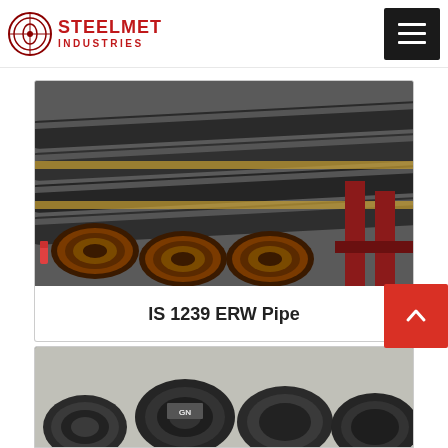STEELMET INDUSTRIES
[Figure (photo): Stack of black steel ERW pipes bundled with rope, viewed from the cut end showing circular pipe openings, arranged on red metal supports in an industrial yard]
IS 1239 ERW Pipe
[Figure (photo): Black carbon steel pipe fittings (elbows and couplings) arranged on a concrete surface, partially visible at bottom of page]